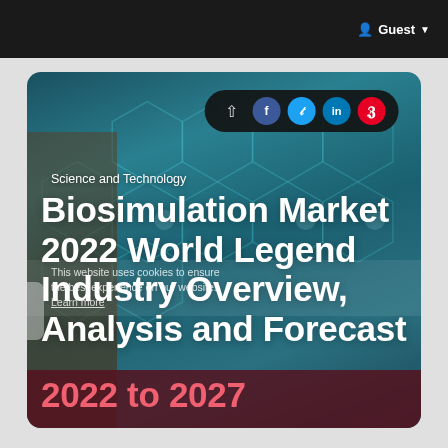Guest
[Figure (screenshot): Biosimulation Market report card with hexagonal tech background image, share buttons (share, Facebook, Twitter, LinkedIn, Pinterest), category label 'Science and Technology', and title text.]
Science and Technology
Biosimulation Market 2022 World Legend Industry Overview, Analysis and Forecast 2022 to 2027
This website uses cookies to ensure the best experience on our website. Learn more